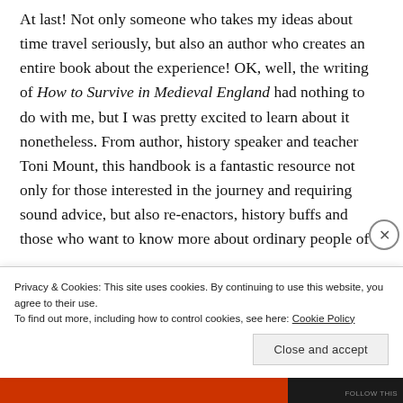At last! Not only someone who takes my ideas about time travel seriously, but also an author who creates an entire book about the experience! OK, well, the writing of How to Survive in Medieval England had nothing to do with me, but I was pretty excited to learn about it nonetheless. From author, history speaker and teacher Toni Mount, this handbook is a fantastic resource not only for those interested in the journey and requiring sound advice, but also re-enactors, history buffs and those who want to know more about ordinary people of
Privacy & Cookies: This site uses cookies. By continuing to use this website, you agree to their use. To find out more, including how to control cookies, see here: Cookie Policy